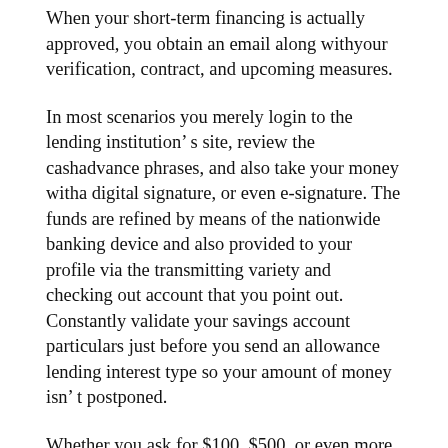When your short-term financing is actually approved, you obtain an email along withyour verification, contract, and upcoming measures.
In most scenarios you merely login to the lending institution’ s site, review the cashadvance phrases, and also take your money witha digital signature, or even e-signature. The funds are refined by means of the nationwide banking device and also provided to your profile via the transmitting variety and checking out account that you point out. Constantly validate your savings account particulars just before you send an allowance lending interest type so your amount of money isn’ t postponed.
Whether you ask for $100, $500, or even more, your quick cashmoney is accessible for make use of promptly after processing. You can pay for expenses online, take out cashmoney coming from an ATM MACHINE, or drop by a local area division for a more individual withdrawal. Several